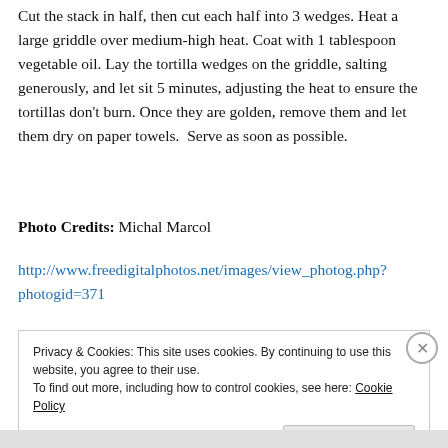Cut the stack in half, then cut each half into 3 wedges. Heat a large griddle over medium-high heat. Coat with 1 tablespoon vegetable oil. Lay the tortilla wedges on the griddle, salting generously, and let sit 5 minutes, adjusting the heat to ensure the tortillas don't burn. Once they are golden, remove them and let them dry on paper towels. Serve as soon as possible.
Photo Credits: Michal Marcol
http://www.freedigitalphotos.net/images/view_photog.php?photogid=371
Privacy & Cookies: This site uses cookies. By continuing to use this website, you agree to their use.
To find out more, including how to control cookies, see here: Cookie Policy
Close and accept